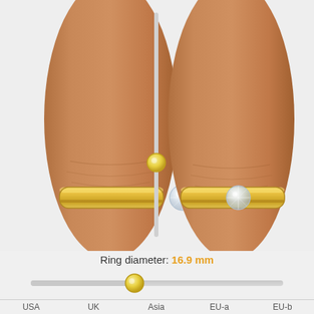[Figure (illustration): Two finger silhouettes with gold diamond rings, a vertical slider in the center, showing ring size comparison. Left finger has a gold solitaire ring with diamond. Right finger has a similar gold solitaire ring with diamond. A vertical grey slider with a yellow handle is positioned between the two fingers.]
Ring diameter: 16.9 mm
[Figure (other): Horizontal slider control with grey track and yellow circular handle, positioned at roughly the 40% mark]
| USA | UK | Asia | EU-a | EU-b |
| --- | --- | --- | --- | --- |